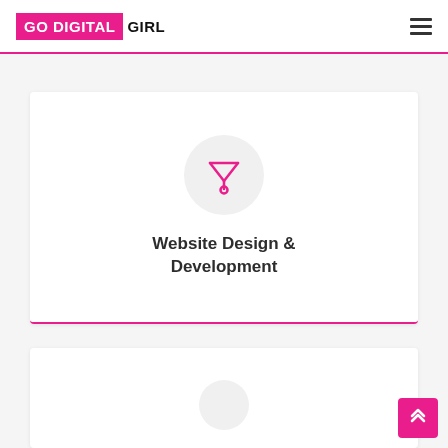GO DIGITAL GIRL
[Figure (logo): Go Digital Girl logo with pink background block for 'GO DIGITAL' and black text 'GIRL', plus hamburger menu icon on right]
[Figure (illustration): Pink pen/design tool icon inside a light grey circle]
Website Design & Development
[Figure (illustration): Partial view of a second card with a grey circle icon, beginning of another section below]